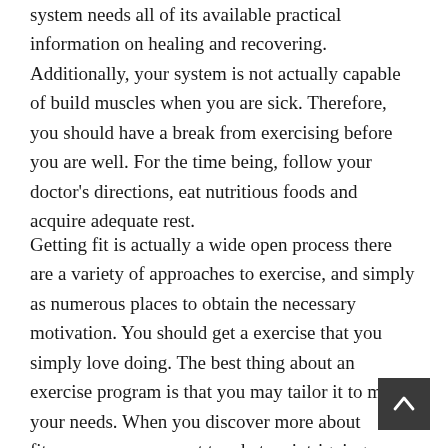system needs all of its available practical information on healing and recovering. Additionally, your system is not actually capable of build muscles when you are sick. Therefore, you should have a break from exercising before you are well. For the time being, follow your doctor's directions, eat nutritious foods and acquire adequate rest.
Getting fit is actually a wide open process there are a variety of approaches to exercise, and simply as numerous places to obtain the necessary motivation. You should get a exercise that you simply love doing. The best thing about an exercise program is that you may tailor it to meet your needs. When you discover more about fitness, you can expect to what an intriguing subject it is.…